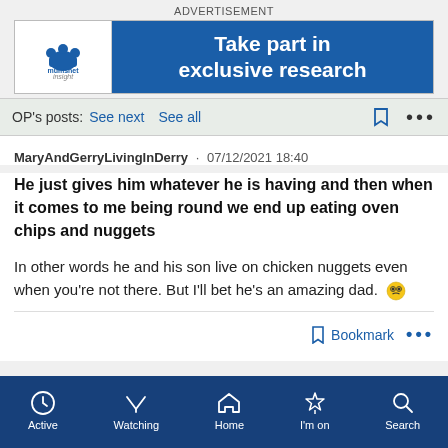[Figure (other): Mumsnet Insight advertisement banner: 'Take part in exclusive research']
OP's posts:  See next  See all
MaryAndGerryLivingInDerry · 07/12/2021 18:40
He just gives him whatever he is having and then when it comes to me being round we end up eating oven chips and nuggets
In other words he and his son live on chicken nuggets even when you're not there. But I'll bet he's an amazing dad. 😬
Bookmark  •••
Active  Watching  Home  I'm on  Search